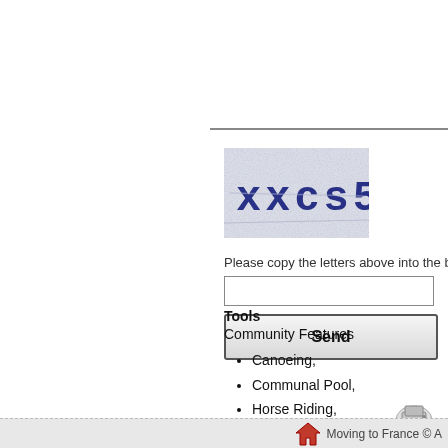[Figure (screenshot): CAPTCHA image showing the text 'xxcs5v' with noisy blue speckled background]
Please copy the letters above into the box below
Send
Tools
Community Features
Canoeing,
Communal Pool,
Horse Riding,
Public Transportation,
Spa,
Sports Facilities,
Tennis Courts
Moving to France © A